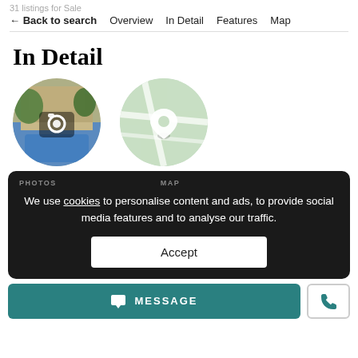31 listings for Sale
← Back to search   Overview   In Detail   Features   Map
In Detail
[Figure (photo): Circular thumbnail of a house with pool, overlaid with a camera icon]
[Figure (map): Circular map thumbnail with a location pin icon, light green tones]
PHOTOS   MAP
We use cookies to personalise content and ads, to provide social media features and to analyse our traffic.
Accept
MESSAGE